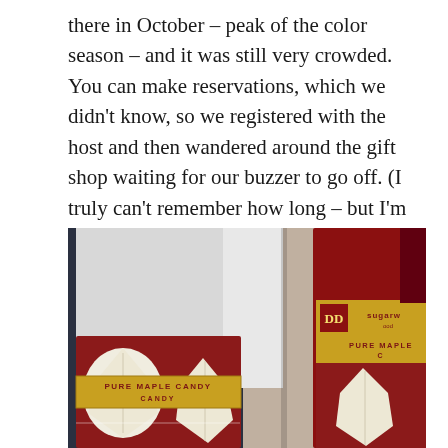there in October – peak of the color season – and it was still very crowded. You can make reservations, which we didn't know, so we registered with the host and then wandered around the gift shop waiting for our buzzer to go off. (I truly can't remember how long – but I'm thinking 40 minutes.)
[Figure (photo): Close-up photo of boxes of Pure Maple Candy from DD Sugarwood, showing maple leaf-shaped white/cream colored candies on red backgrounds inside open boxes.]